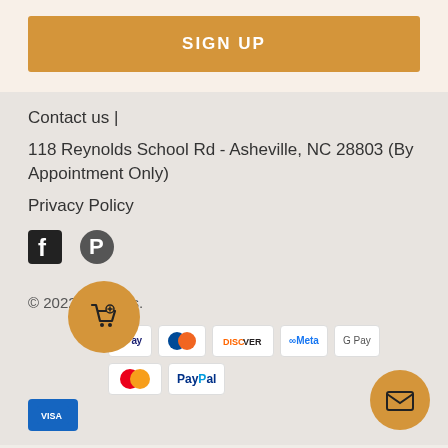SIGN UP
Contact us |
118 Reynolds School Rd - Asheville, NC 28803 (By Appointment Only)
Privacy Policy
[Figure (infographic): Facebook and Pinterest social media icons]
© 2022 XGuitars.
[Figure (infographic): Payment method logos: Apple Pay, Diners Club, Discover, Meta Pay, Google Pay, Mastercard, PayPal, Visa]
[Figure (infographic): Shopping cart floating action button (orange circle)]
[Figure (infographic): Mail floating action button (orange circle)]